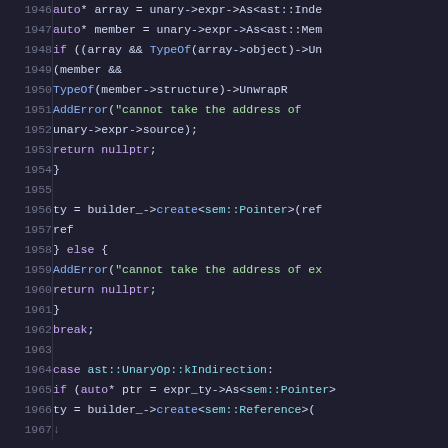[Figure (screenshot): Source code viewer showing C++ code lines 1946-1967 with syntax highlighting on a dark background. Line numbers in gray on left, code in various colors (purple for keywords, blue for function names, cyan for types, green for strings).]